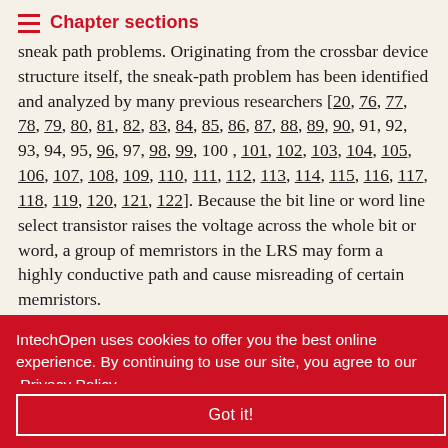Chapter sections
sneak-path problems. Originating from the crossbar device structure itself, the sneak-path problem has been identified and analyzed by many previous researchers [20, 76, 77, 78, 79, 80, 81, 82, 83, 84, 85, 86, 87, 88, 89, 90, 91, 92, 93, 94, 95, 96, 97, 98, 99, 100, 101, 102, 103, 104, 105, 106, 107, 108, 109, 110, 111, 112, 113, 114, 115, 116, 117, 118, 119, 120, 121, 122]. Because the bit line or word line select transistor raises the voltage across the whole bit or word, a group of memristors in the LRS may form a highly conductive path and cause misreading of certain memristors.
is using a ory element, element is e direction her direction. The most common selection element is a
IntechOpen uses cookies to offer you the best online experience. By continuing to use our site, you agree to our Privacy Policy
Got it!